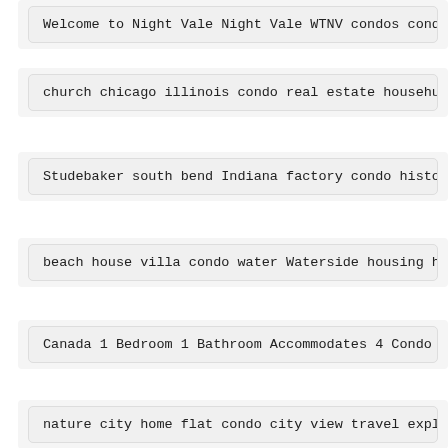Welcome to Night Vale Night Vale WTNV condos condo
church chicago illinois condo real estate househun
Studebaker south bend Indiana factory condo histor
beach house villa condo water Waterside housing ho
Canada 1 Bedroom 1 Bathroom Accommodates 4 Condo U
nature city home flat condo city view travel explo